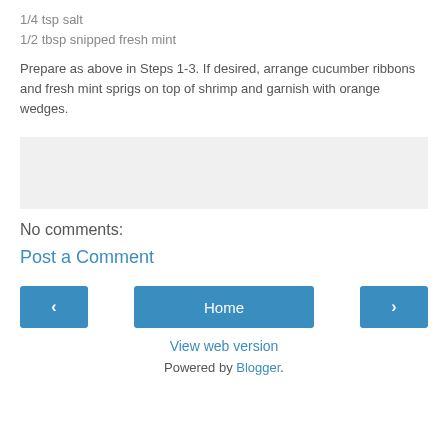1/4 tsp salt
1/2 tbsp snipped fresh mint
Prepare as above in Steps 1-3. If desired, arrange cucumber ribbons and fresh mint sprigs on top of shrimp and garnish with orange wedges.
[Figure (other): Gray placeholder box for an image or widget area]
No comments:
Post a Comment
Home
View web version
Powered by Blogger.